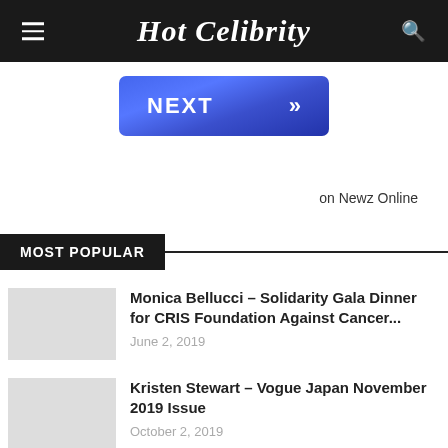Hot Celibrity
[Figure (other): NEXT >> button with blue gradient background]
on Newz Online
MOST POPULAR
Monica Bellucci – Solidarity Gala Dinner for CRIS Foundation Against Cancer...
June 2, 2019
Kristen Stewart – Vogue Japan November 2019 Issue
October 2, 2019